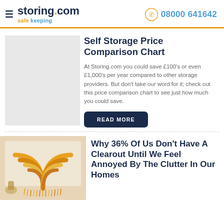storing.com safe keeping | 08000 641642
Self Storage Price Comparison Chart
At Storing.com you could save £100's or even £1,000's per year compared to other storage providers. But don't take our word for it; check out this price comparison chart to see just how much you could save.
READ MORE
Why 36% Of Us Don't Have A Clearout Until We Feel Annoyed By The Clutter In Our Homes